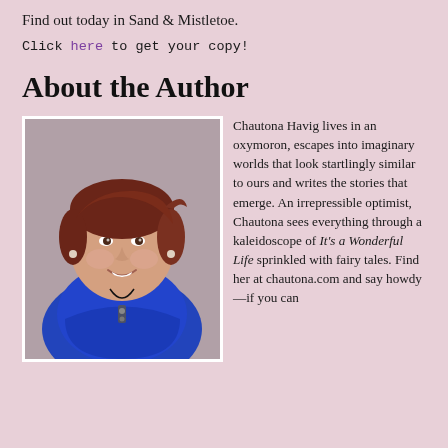Find out today in Sand & Mistletoe.
Click here to get your copy!
About the Author
[Figure (photo): Author photo of Chautona Havig, a woman with short reddish-brown hair wearing a blue top and a black pendant necklace, smiling at the camera.]
Chautona Havig lives in an oxymoron, escapes into imaginary worlds that look startlingly similar to ours and writes the stories that emerge. An irrepressible optimist, Chautona sees everything through a kaleidoscope of It's a Wonderful Life sprinkled with fairy tales. Find her at chautona.com and say howdy—if you can